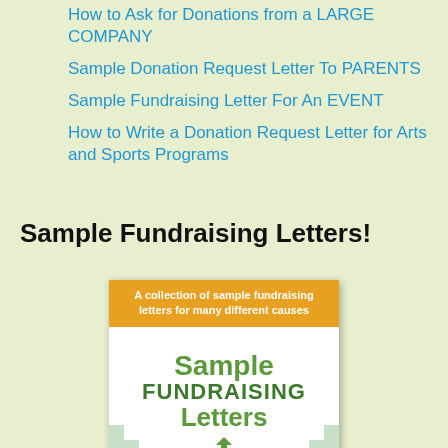How to Ask for Donations from a LARGE COMPANY
Sample Donation Request Letter To PARENTS
Sample Fundraising Letter For An EVENT
How to Write a Donation Request Letter for Arts and Sports Programs
Sample Fundraising Letters!
[Figure (photo): Book cover for 'Sample Fundraising Letters' with orange banner reading 'A collection of sample fundraising letters for many different causes']